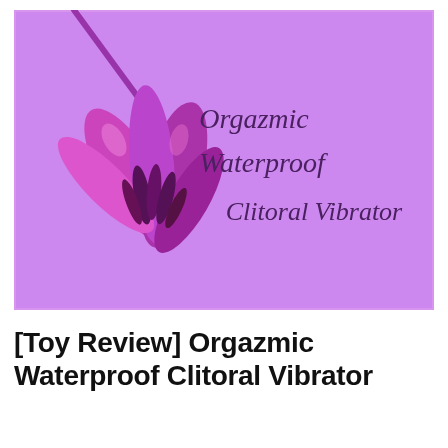[Figure (photo): A close-up photo of a purple/magenta flower bud with stamens visible, set against a lavender background. On the right side of the image, cursive italic text reads 'Orgazmic Waterproof Clitoral Vibrator'. The image has a thin pink/lavender border.]
[Toy Review] Orgazmic Waterproof Clitoral Vibrator